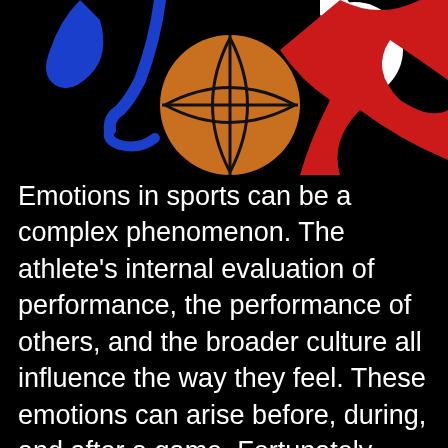[Figure (illustration): Sports illustration on black background showing a basketball, hockey stick, soccer ball, and red lightning bolt/shoe graphic with blue and red accents]
Emotions in sports can be a complex phenomenon. The athlete's internal evaluation of performance, the performance of others, and the broader culture all influence the way they feel. These emotions can arise before, during, and after a game. Fortunately, sports psychology is designed to help athletes manage their feelings. Some sports even have “feeling rules” to help them express their emotions in appropriate ways.